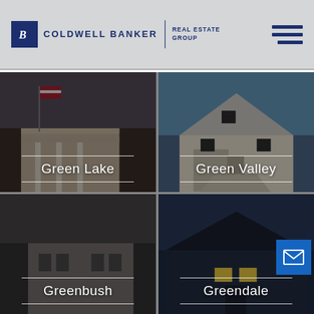[Figure (logo): Coldwell Banker Real Estate Group logo with hamburger menu icon]
[Figure (photo): Green Lake neighborhood card with house photo and white text overlay]
[Figure (photo): Green Valley neighborhood card with house photo and white text overlay]
[Figure (photo): Greenbush neighborhood card with house photo and white text overlay]
[Figure (photo): Greendale neighborhood card with house photo, white text overlay, and email contact button]